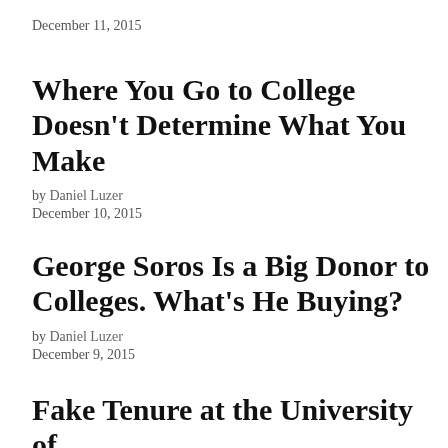December 11, 2015
Where You Go to College Doesn't Determine What You Make
by Daniel Luzer
December 10, 2015
George Soros Is a Big Donor to Colleges. What's He Buying?
by Daniel Luzer
December 9, 2015
Fake Tenure at the University of